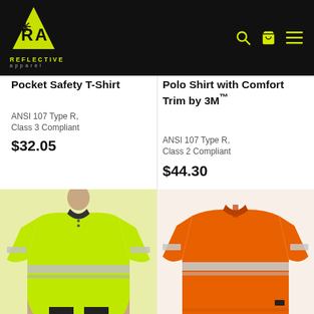Reflective Apparel - Logo and navigation
Pocket Safety T-Shirt
ANSI 107 Type R, Class 3 Compliant
$32.05
Polo Shirt with Comfort Trim by 3M™
ANSI 107 Type R, Class 2 Compliant
$44.30
[Figure (photo): Yellow/lime hi-vis reflective polo shirt with reflective tape across chest and sleeves, worn by a person]
[Figure (photo): Orange hi-vis reflective polo shirt with reflective tape across chest and sleeves, product flat or on mannequin]